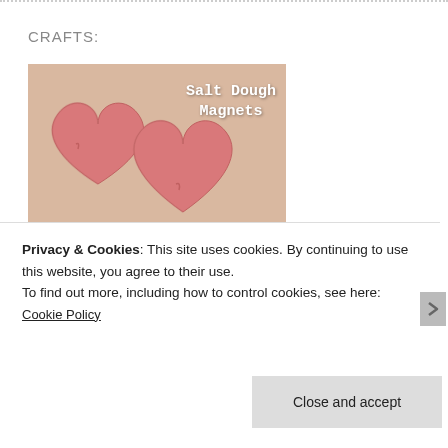CRAFTS:
[Figure (photo): Two pink heart-shaped salt dough magnets on a beige background with text 'Salt Dough Magnets' and watermark 'www.RoamingRosie.com']
[Figure (photo): Partial photo showing hands and a patterned background, with watermark 'www.RoamingRosie.com']
Privacy & Cookies: This site uses cookies. By continuing to use this website, you agree to their use. To find out more, including how to control cookies, see here: Cookie Policy
Close and accept